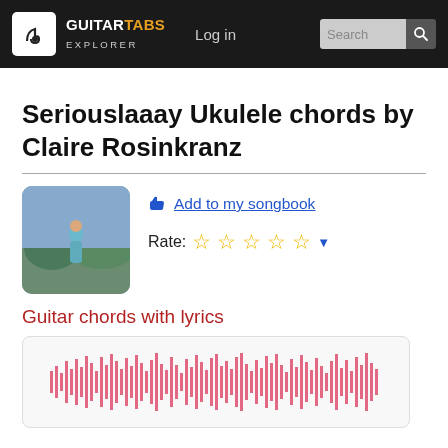GUITARTABS EXPLORER | Log in | Search
Seriouslaaay Ukulele chords by Claire Rosinkranz
Add to my songbook
Rate: ☆☆☆☆☆
Guitar chords with lyrics
[Figure (other): Audio waveform visualization in pink/red color, showing a sound waveform pattern inside a rounded white card.]